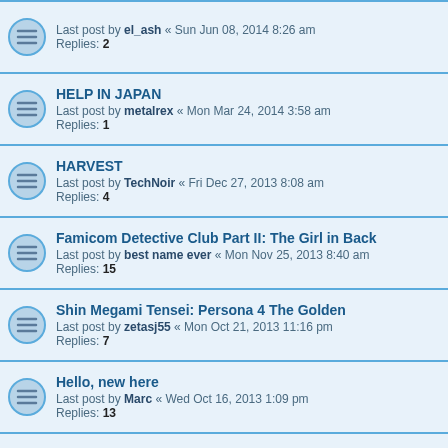Last post by el_ash « Sun Jun 08, 2014 8:26 am
Replies: 2
HELP IN JAPAN
Last post by metalrex « Mon Mar 24, 2014 3:58 am
Replies: 1
HARVEST
Last post by TechNoir « Fri Dec 27, 2013 8:08 am
Replies: 4
Famicom Detective Club Part II: The Girl in Back
Last post by best name ever « Mon Nov 25, 2013 8:40 am
Replies: 15
Shin Megami Tensei: Persona 4 The Golden
Last post by zetasj55 « Mon Oct 21, 2013 11:16 pm
Replies: 7
Hello, new here
Last post by Marc « Wed Oct 16, 2013 1:09 pm
Replies: 13
PS1 Memory cards in PS2
Last post by benish « Sat Aug 03, 2013 7:36 am
Replies: 13
New Topic | 375 topics | 1 2 3 4 5 ... 15 | Jump to